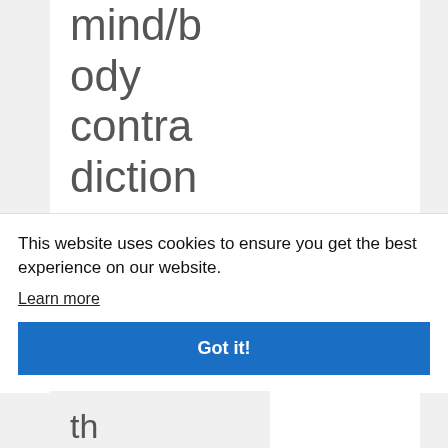mind/body contradictions. Resolving these contra
This website uses cookies to ensure you get the best experience on our website.
Learn more
Got it!